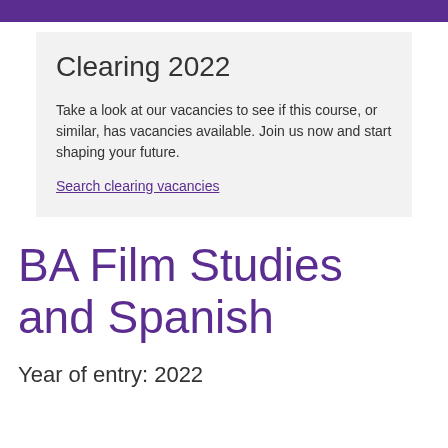Clearing 2022
Take a look at our vacancies to see if this course, or similar, has vacancies available. Join us now and start shaping your future.
Search clearing vacancies
BA Film Studies and Spanish
Year of entry: 2022